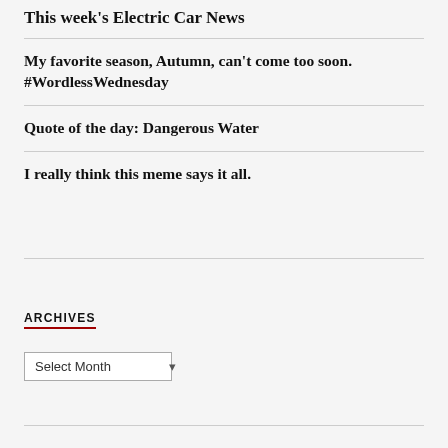This week's Electric Car News
My favorite season, Autumn, can't come too soon. #WordlessWednesday
Quote of the day: Dangerous Water
I really think this meme says it all.
ARCHIVES
Select Month